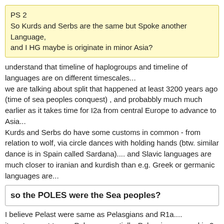PS 2
So Kurds and Serbs are the same but Spoke another Language,
and I HG maybe is originate in minor Asia?
understand that timeline of haplogroups and timeline of languages are on different timescales...
we are talking about split that happened at least 3200 years ago (time of sea peoples conquest) , and probabbly much much earlier as it takes time for I2a from central Europe to advance to Asia...
Kurds and Serbs do have some customs in common - from relation to wolf, via circle dances with holding hands (btw. similar dance is in Spain called Sardana).... and Slavic languages are much closer to iranian and kurdish than e.g. Greek or germanic languages are...
so the POLES were the Sea peoples?
I believe Pelast were same as Pelasgians and R1a....
its not correct to say Poles...essentially, Pelasgians spread in 2 directions: to north where they eventually became Poles, and to east with "sea peoples" invasion where they